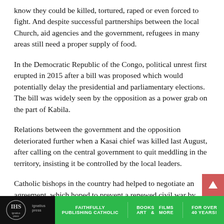know they could be killed, tortured, raped or even forced to fight. And despite successful partnerships between the local Church, aid agencies and the government, refugees in many areas still need a proper supply of food.
In the Democratic Republic of the Congo, political unrest first erupted in 2015 after a bill was proposed which would potentially delay the presidential and parliamentary elections. The bill was widely seen by the opposition as a power grab on the part of Kabila.
Relations between the government and the opposition deteriorated further when a Kasai chief was killed last August, after calling on the central government to quit meddling in the territory, insisting it be controlled by the local leaders.
Catholic bishops in the country had helped to negotiate an agreement, which hoped to prevent a renewed civil war by securing an election this year for the successor of President
Ignatius Press — FAITHFULLY PUBLISHING CATHOLIC — BOOKS FILMS ART & MORE — FOR OVER 40 YEARS!